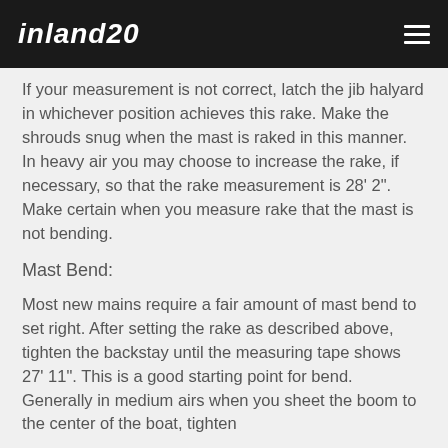inland20
If your measurement is not correct, latch the jib halyard in whichever position achieves this rake. Make the shrouds snug when the mast is raked in this manner. In heavy air you may choose to increase the rake, if necessary, so that the rake measurement is 28' 2". Make certain when you measure rake that the mast is not bending.
Mast Bend:
Most new mains require a fair amount of mast bend to set right. After setting the rake as described above, tighten the backstay until the measuring tape shows 27' 11". This is a good starting point for bend. Generally in medium airs when you sheet the boom to the center of the boat, tighten